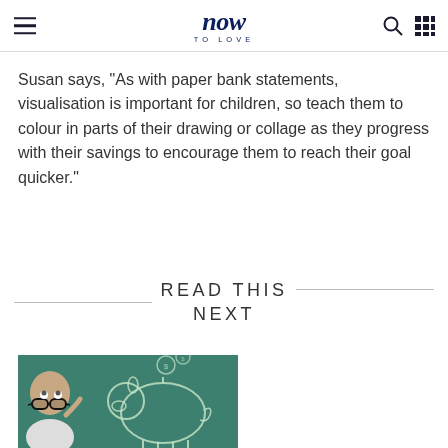now TO LOVE
Susan says, “As with paper bank statements, visualisation is important for children, so teach them to colour in parts of their drawing or collage as they progress with their savings to encourage them to reach their goal quicker.”
READ THIS NEXT
[Figure (photo): Baby wearing large glasses looking upward, against a teal chalkboard background with a drawn piggy bank and coins]